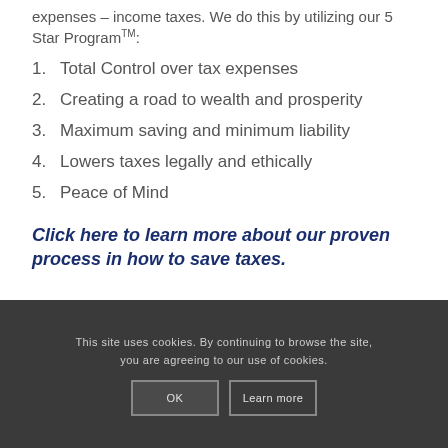expenses – income taxes. We do this by utilizing our 5 Star Program™:
1. Total Control over tax expenses
2. Creating a road to wealth and prosperity
3. Maximum saving and minimum liability
4. Lowers taxes legally and ethically
5. Peace of Mind
Click here to learn more about our proven process in how to save taxes.
This site uses cookies. By continuing to browse the site, you are agreeing to our use of cookies. OK Learn more